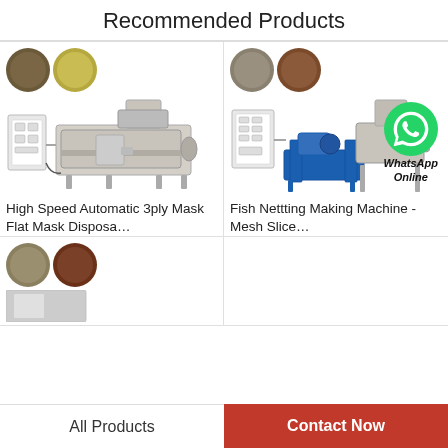Recommended Products
[Figure (photo): Product card: High Speed Automatic 3ply Mask Flat Mask Disposa... - shows industrial extrusion machine with two pellet circles above it]
High Speed Automatic 3ply Mask Flat Mask Disposa…
[Figure (photo): Product card: Fish Nettting Making Machine - Mesh Slice... - shows industrial extrusion machine with WhatsApp Online overlay icon]
Fish Nettting Making Machine - Mesh Slice…
[Figure (photo): Partial product card (bottom row, left) showing two pellet circles and partial machine image]
All Products
Contact Now